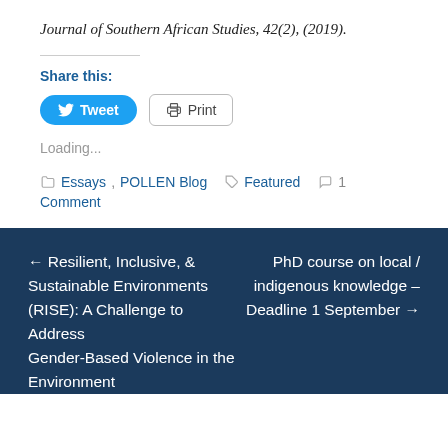Journal of Southern African Studies, 42(2), (2019).
Share this:
Tweet  Print
Loading...
Essays, POLLEN Blog  Featured  1 Comment
← Resilient, Inclusive, & Sustainable Environments (RISE): A Challenge to Address Gender-Based Violence in the Environment
PhD course on local / indigenous knowledge – Deadline 1 September →